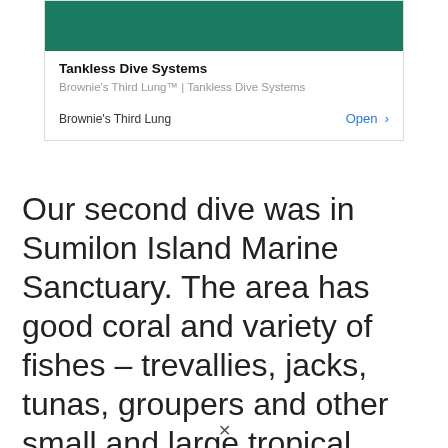[Figure (other): Advertisement banner for Brownie's Third Lung Tankless Dive Systems, showing a teal underwater image at top, bold title 'Tankless Dive Systems', subtitle 'Brownie's Third Lung™ | Tankless Dive Systems', brand name 'Brownie's Third Lung' and an 'Open >' button in blue.]
Our second dive was in Sumilon Island Marine Sanctuary. The area has good coral and variety of fishes – trevallies, jacks, tunas, groupers and other small and large tropical fishes including this school of sweetlips near the surface. The greatest surprise however was the rare Salpa